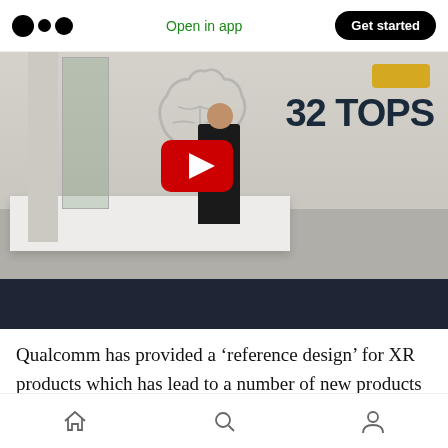Medium app header with logo, Open in app, Get started button
[Figure (screenshot): YouTube video thumbnail showing a man standing on a white platform stage with a brain graphic in the background and '32 TOPS' text on the right. A red YouTube play button overlay is centered on the image.]
Qualcomm has provided a ‘reference design’ for XR products which has lead to a number of new products hitting the market in the past 24 months. In addition, they have partnered with several telco operators to deliver the
Bottom navigation bar with home, search, and profile icons